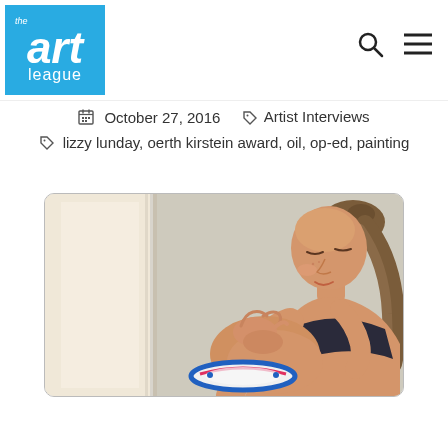[Figure (logo): Art League logo — blue rectangle with white italic 'art' text and 'league' below, small 'the' in top left corner]
October 27, 2016    Artist Interviews
lizzy lunday, oerth kirstein award, oil, op-ed, painting
[Figure (illustration): Oil painting of a woman in a dark bandeau top seated and looking down at her hands clasped over her knee, with a colorful round object (frisbee or plate) in her lap; background has light-colored rectangular panels]